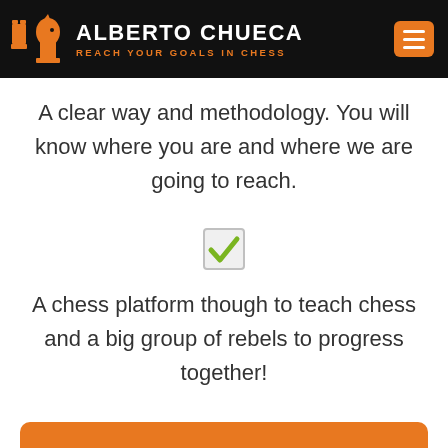ALBERTO CHUECA — REACH YOUR GOALS IN CHESS
A clear way and methodology. You will know where you are and where we are going to reach.
[Figure (illustration): Checkbox with a green checkmark inside a light gray bordered square]
A chess platform though to teach chess and a big group of rebels to progress together!